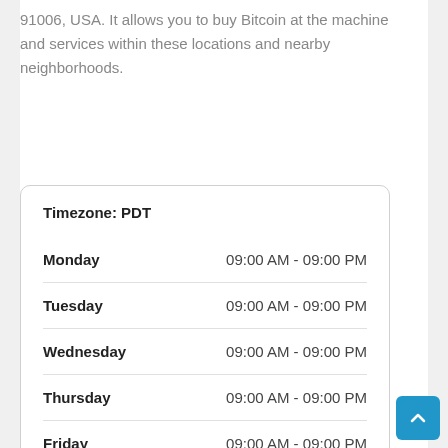91006, USA. It allows you to buy Bitcoin at the machine and services within these locations and nearby neighborhoods.
| Day | Hours |
| --- | --- |
| Monday | 09:00 AM - 09:00 PM |
| Tuesday | 09:00 AM - 09:00 PM |
| Wednesday | 09:00 AM - 09:00 PM |
| Thursday | 09:00 AM - 09:00 PM |
| Friday | 09:00 AM - 09:00 PM |
| Saturday | 09:00 AM - 09:00 PM |